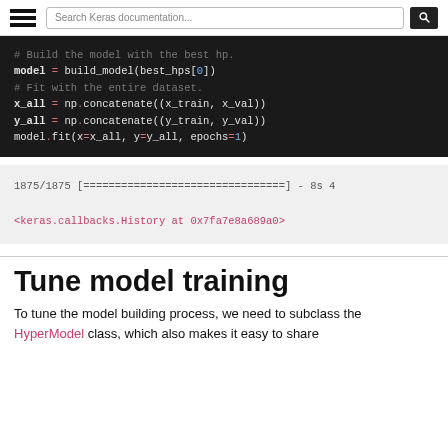Search Keras documentation...
[Figure (screenshot): Dark-background code block showing Python code: # Build the model with the best hp. / model = build_model(best_hps[0]) / # Fit with the entire dataset. / x_all = np.concatenate((x_train, x_val)) / y_all = np.concatenate((y_train, y_val)) / model.fit(x=x_all, y=y_all, epochs=1)]
[Figure (screenshot): Light-background output block showing: 1875/1875 [================================] - 8s 4 / <keras.callbacks.History at 0x7fa7e8a689a0>]
Tune model training
To tune the model building process, we need to subclass the HyperModel class, which also makes it easy to share